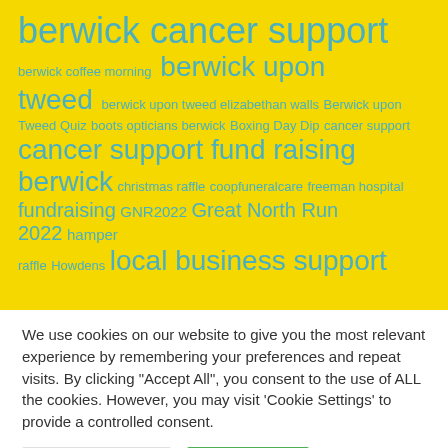[Figure (infographic): Tag cloud on yellow background with teal/blue tags of varying sizes: 'berwick cancer support' (largest), 'berwick upon tweed' (large), 'cancer support fund raising berwick' (large), 'berwick coffee morning', 'berwick upon tweed elizabethan walls', 'Berwick upon Tweed Quiz', 'boots opticians berwick', 'Boxing Day Dip', 'cancer support', 'christmas raffle', 'coopfuneralcare', 'freeman hospital', 'fundraising', 'GNR2022', 'Great North Run 2022', 'hamper', 'raffle', 'Howdens', 'local business support']
We use cookies on our website to give you the most relevant experience by remembering your preferences and repeat visits. By clicking "Accept All", you consent to the use of ALL the cookies. However, you may visit 'Cookie Settings' to provide a controlled consent.
Cookie Settings | Accept All